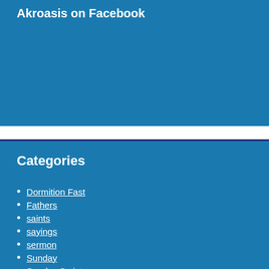Akroasis on Facebook
Categories
Dormition Fast
Fathers
saints
sayings
sermon
Sunday
Sunday Scriptures
Uncategorized